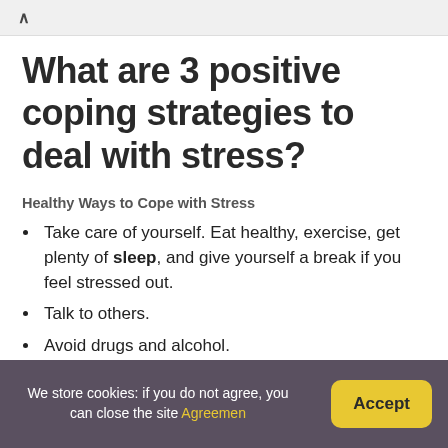What are 3 positive coping strategies to deal with stress?
Healthy Ways to Cope with Stress
Take care of yourself. Eat healthy, exercise, get plenty of sleep, and give yourself a break if you feel stressed out.
Talk to others.
Avoid drugs and alcohol.
Take a break.
Recognize when you need more help.
We store cookies: if you do not agree, you can close the site Agreemen   Accept